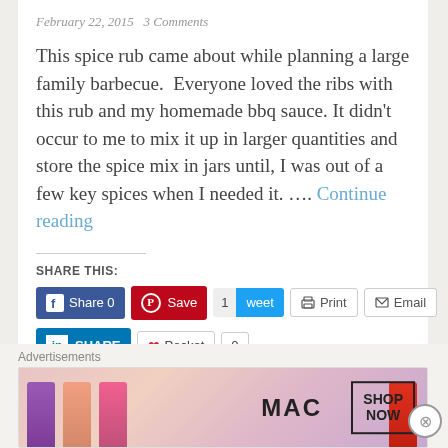February 22, 2015   3 Comments
This spice rub came about while planning a large family barbecue.  Everyone loved the ribs with this rub and my homemade bbq sauce. It didn't occur to me to mix it up in larger quantities and store the spice mix in jars until, I was out of a few key spices when I needed it. …. Continue reading
SHARE THIS:
[Figure (screenshot): Social sharing buttons: Facebook Share 0, Pinterest Save, Tweet 1, Print, Email, LinkedIn Share, Pocket 0]
[Figure (screenshot): Like button and thumbnail image]
[Figure (advertisement): MAC cosmetics advertisement showing lipsticks with SHOP NOW button]